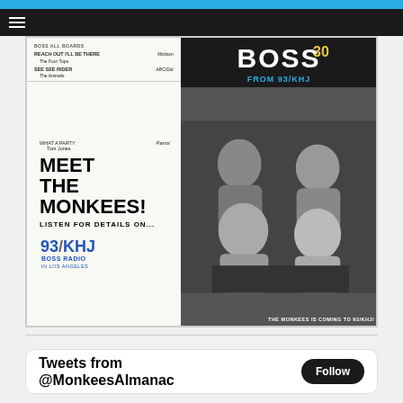[Figure (screenshot): Composite image of two vintage KHJ Boss Radio promotional materials. Left: a printed ad reading 'WHAT A PARTY / Tom Jones / Parrot' and 'MEET THE MONKEES! LISTEN FOR DETAILS ON... 93/KHJ BOSS RADIO IN LOS ANGELES'. Right: A Boss 30 chart from 93/KHJ with a black-and-white photo of The Monkees and caption 'THE MONKEES IS COMING TO 93/KHJ!']
Tweets from @MonkeesAlmanac
Follow